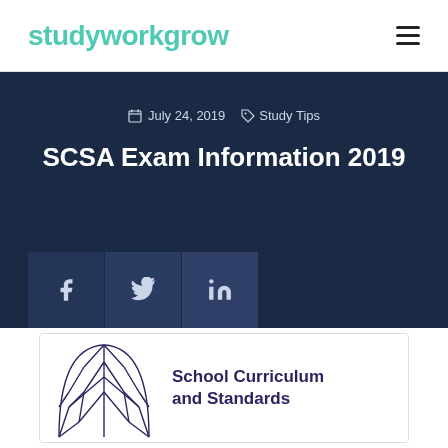studyworkgrow
July 24, 2019  Study Tips
SCSA Exam Information 2019
[Figure (screenshot): Social share buttons for Facebook, Twitter, and LinkedIn on dark navy background]
[Figure (logo): School Curriculum and Standards Authority (SCSA) logo — tree illustration with text]